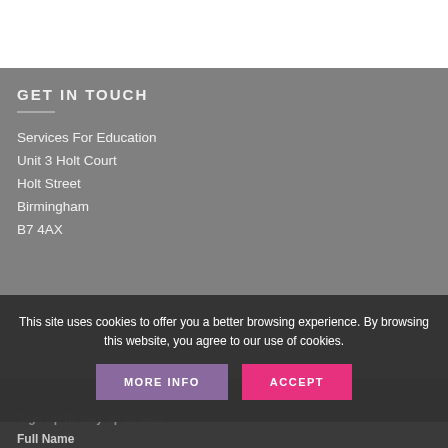GET IN TOUCH
Services For Education
Unit 3 Holt Court
Holt Street
Birmingham
B7 4AX
T: +44 (0)121 366 0116
Sign up to stay up to date.
Full Name
This site uses cookies to offer you a better browsing experience. By browsing this website, you agree to our use of cookies.